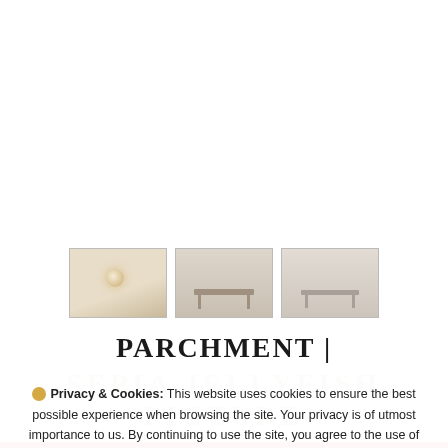[Figure (photo): Three thumbnail images of home interior scenes: first shows a wall sconce light on a warm beige wall, second and third show dining table scenes in muted tones.]
PARCHMENT |
SEPIA JELLYFISH PICTURE
🍪 Privacy & Cookies: This website uses cookies to ensure the best possible experience when browsing the site. Your privacy is of utmost importance to us. By continuing to use the site, you agree to the use of cookies. Learn more